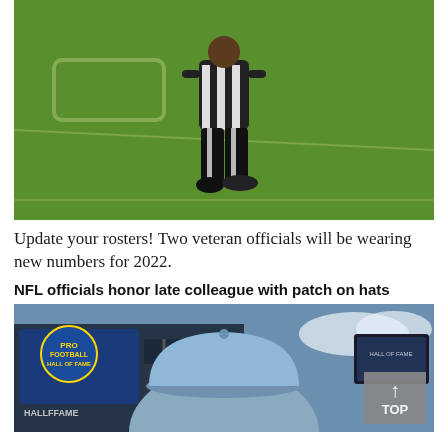[Figure (photo): NFL referee in black and white striped uniform walking on green football field, viewed from behind, carrying a flag]
Update your rosters! Two veteran officials will be wearing new numbers for 2022.
NFL officials honor late colleague with patch on hats
[Figure (photo): Person wearing a light blue baseball cap at what appears to be an NFL Hall of Fame event, with stage and signage visible in background. A 'TOP' button overlay is visible in the bottom right.]